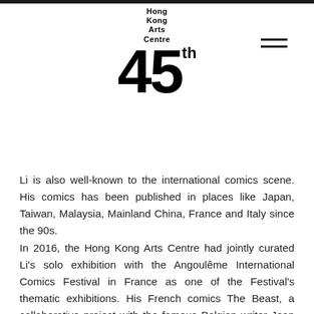[Figure (logo): Hong Kong Arts Centre 45th anniversary logo — bold '45' with superscript 'th' and 'Hong Kong Arts Centre' text above]
Li is also well-known to the international comics scene. His comics has been published in places like Japan, Taiwan, Malaysia, Mainland China, France and Italy since the 90s.
In 2016, the Hong Kong Arts Centre had jointly curated Li's solo exhibition with the Angoulême International Comics Festival in France as one of the Festival's thematic exhibitions. His French comics The Beast, a collaborative project with the famous Belgian writer Jean Dufaux, was released at the same time. This solo exhibition had given birth to another international cooperation opportunity. Li was invited by the Louvre Museum to create a new comics Moon of the Moon. The French version was released in November 2019 in Europe and the Hong Kong